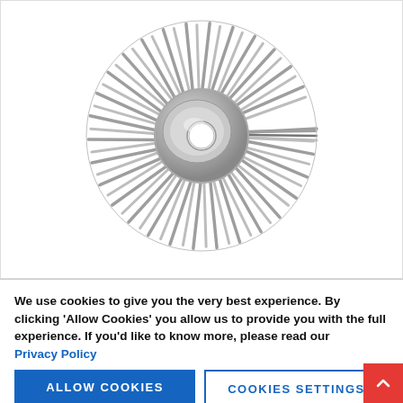[Figure (photo): A circular knotted wire wheel brush made of twisted steel wire strands radiating outward from a central metal hub with a hole in the center. The brush appears silver/metallic in color against a white background.]
We use cookies to give you the very best experience. By clicking 'Allow Cookies' you allow us to provide you with the full experience. If you'd like to know more, please read our Privacy Policy
ALLOW COOKIES
COOKIES SETTINGS